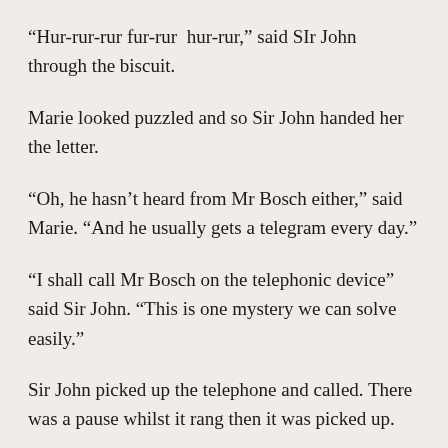“Hur-rur-rur fur-rur  hur-rur,” said SIr John through the biscuit.
Marie looked puzzled and so Sir John handed her the letter.
“Oh, he hasn’t heard from Mr Bosch either,” said Marie. “And he usually gets a telegram every day.”
“I shall call Mr Bosch on the telephonic device” said Sir John. “This is one mystery we can solve easily.”
Sir John picked up the telephone and called. There was a pause whilst it rang then it was picked up.
“Ah here he is,” said Sir John. “Hello Phleb... What do you